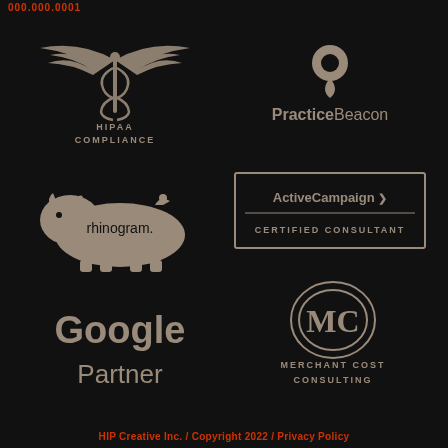000.000.0001
[Figure (logo): HIPAA COMPLIANCE logo with caduceus medical symbol, beige/tan color on black background]
[Figure (logo): PracticeBeacon logo with location pin icon, beige/tan color on black background]
[Figure (logo): rhinogram. logo with rhinoceros illustration, beige/tan color on black background]
[Figure (logo): ActiveCampaign > CERTIFIED CONSULTANT badge, beige/tan outlined rectangle on black background]
[Figure (logo): Google Partner logo, beige/tan text on black background]
[Figure (logo): Merchant Cost Consulting logo with MC monogram, beige/tan color on black background]
HIP Creative Inc. / Copyright 2022 / Privacy Policy